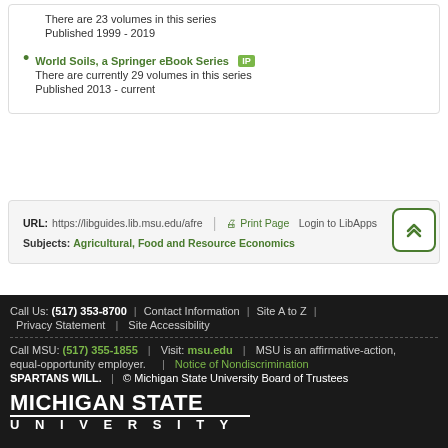There are 23 volumes in this series
Published 1999 - 2019
World Soils, a Springer eBook Series [IP] — There are currently 29 volumes in this series — Published 2013 - current
URL: https://libguides.lib.msu.edu/afre | Print Page | Login to LibApps
Subjects: Agricultural, Food and Resource Economics
Call Us: (517) 353-8700 | Contact Information | Site A to Z | Privacy Statement | Site Accessibility
Call MSU: (517) 355-1855 | Visit: msu.edu | MSU is an affirmative-action, equal-opportunity employer. | Notice of Nondiscrimination
SPARTANS WILL. | © Michigan State University Board of Trustees
[Figure (logo): Michigan State University logo — MICHIGAN STATE in large bold white text, UNIVERSITY in spaced white text below]